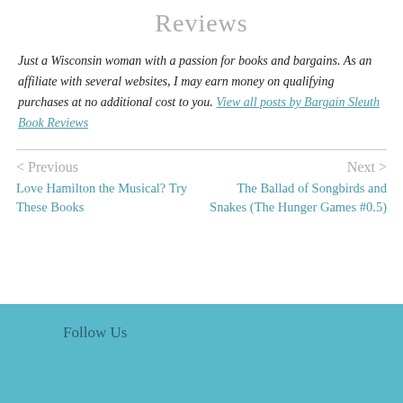Reviews
Just a Wisconsin woman with a passion for books and bargains. As an affiliate with several websites, I may earn money on qualifying purchases at no additional cost to you. View all posts by Bargain Sleuth Book Reviews
< Previous
Love Hamilton the Musical? Try These Books
Next >
The Ballad of Songbirds and Snakes (The Hunger Games #0.5)
Follow Us